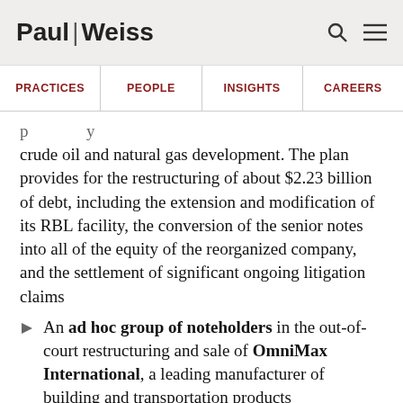Paul Weiss
PRACTICES | PEOPLE | INSIGHTS | CAREERS
crude oil and natural gas development. The plan provides for the restructuring of about $2.23 billion of debt, including the extension and modification of its RBL facility, the conversion of the senior notes into all of the equity of the reorganized company, and the settlement of significant ongoing litigation claims
An ad hoc group of noteholders in the out-of-court restructuring and sale of OmniMax International, a leading manufacturer of building and transportation products